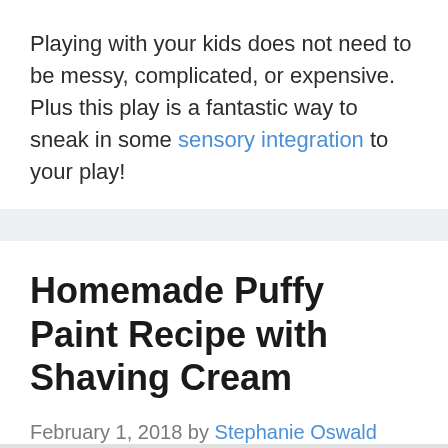Playing with your kids does not need to be messy, complicated, or expensive. Plus this play is a fantastic way to sneak in some sensory integration to your play!
Homemade Puffy Paint Recipe with Shaving Cream
February 1, 2018 by Stephanie Oswald